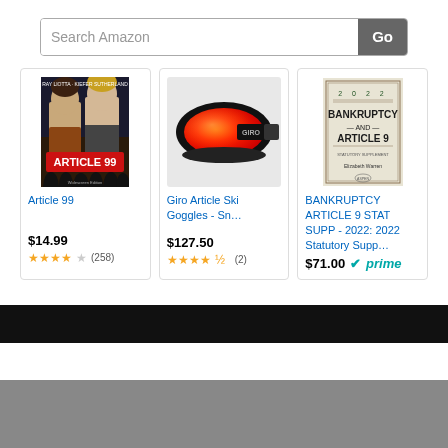[Figure (screenshot): Amazon search bar with 'Search Amazon' placeholder text and 'Go' button]
[Figure (photo): Article 99 movie poster showing two men]
Article 99
$14.99
★★★★☆ (258)
[Figure (photo): Giro ski goggles with red/orange lens]
Giro Article Ski Goggles - Sn...
$127.50
★★★★½ (2)
[Figure (photo): Bankruptcy and Article 9 book cover, 2022 edition by Elizabeth Warren]
BANKRUPTCY ARTICLE 9 STAT SUPP - 2022: 2022 Statutory Supp...
$71.00 ✔prime